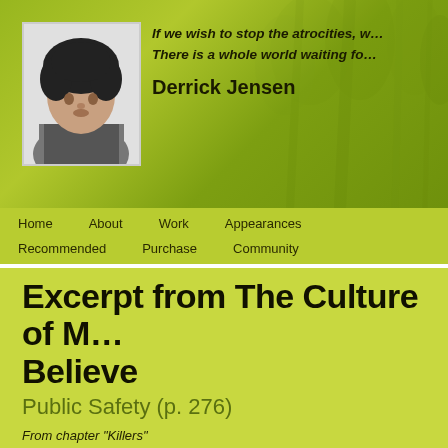[Figure (photo): Black and white headshot photo of Derrick Jensen, a man with curly dark hair]
If we wish to stop the atrocities, w…
There is a whole world waiting fo…
Derrick Jensen
Home   About   Work   Appearances   Recommended   Purchase   Community
Excerpt from The Culture of M… Believe
Public Safety (p. 276)
From chapter "Killers"
Surprisingly enough—and this statement may dismay a lot of my liberal fri…